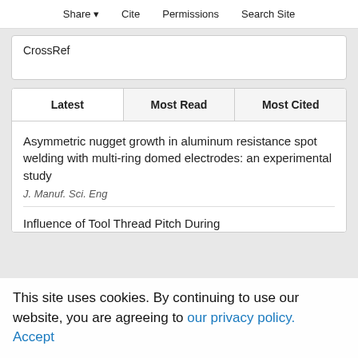Share  Cite  Permissions  Search Site
CrossRef
| Latest | Most Read | Most Cited |
| --- | --- | --- |
Asymmetric nugget growth in aluminum resistance spot welding with multi-ring domed electrodes: an experimental study
J. Manuf. Sci. Eng
Influence of Tool Thread Pitch During
This site uses cookies. By continuing to use our website, you are agreeing to our privacy policy. Accept